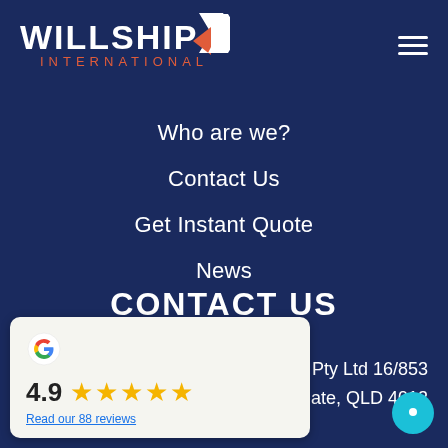[Figure (logo): Willship International logo with white text and red/white geometric arrow mark]
[Figure (other): Hamburger menu icon with three white horizontal lines]
Who are we?
Contact Us
Get Instant Quote
News
CONTACT US
[Figure (other): Google review widget card showing 4.9 rating with 5 gold stars and link to read 88 reviews]
ational Pty Ltd 16/853
Northgate, QLD 4013